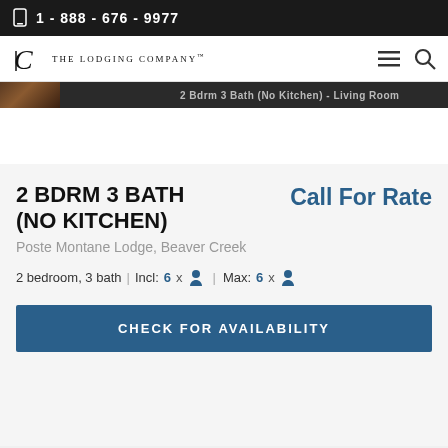1 - 888 - 676 - 9977
[Figure (logo): The Lodging Company logo with TL monogram]
[Figure (photo): Partial room photo showing 2 Bdrm 3 Bath (No Kitchen) - Living Room]
2 BDRM 3 BATH (NO KITCHEN)
Call For Rate
Poste Montane Lodge, Beaver Creek
2 bedroom, 3 bath | Incl: 6 x person | Max: 6 x person
CHECK FOR AVAILABILITY